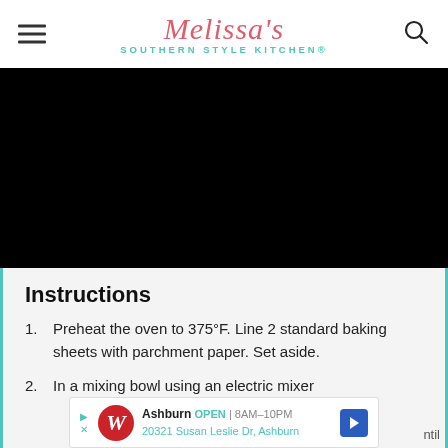Melissa's Southern Style Kitchen®
[Figure (photo): Black image area (food photo not visible)]
Instructions
Preheat the oven to 375°F. Line 2 standard baking sheets with parchment paper. Set aside.
In a mixing bowl using an electric mixer
[Figure (other): Advertisement banner: Walgreens, Ashburn OPEN 8AM–10PM, 20321 Susan Leslie Dr, Ashburn]